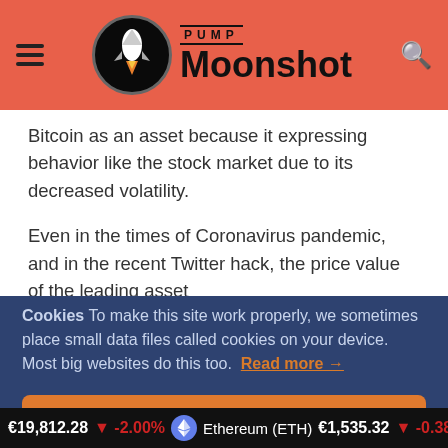PUMP Moonshot
Bitcoin as an asset because it expressing behavior like the stock market due to its decreased volatility.
Even in the times of Coronavirus pandemic, and in the recent Twitter hack, the price value of the leading asset
Cookies To make this site work properly, we sometimes place small data files called cookies on your device. Most big websites do this too. Read more →
✓ Accept
Cookies Settings ⚙
€19,812.28 ↓ -2.00% Ethereum (ETH) €1,535.32 ↓ -0.38